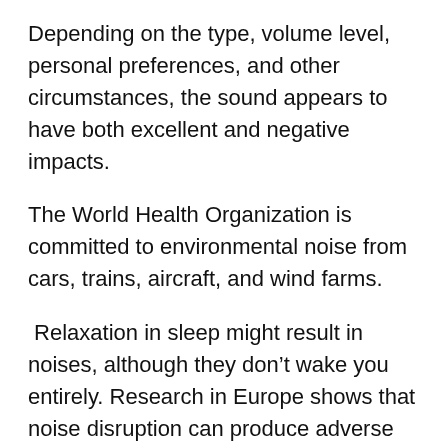Depending on the type, volume level, personal preferences, and other circumstances, the sound appears to have both excellent and negative impacts.
The World Health Organization is committed to environmental noise from cars, trains, aircraft, and wind farms.
Relaxation in sleep might result in noises, although they don’t wake you entirely. Research in Europe shows that noise disruption can produce adverse effects on people’s health. The WHO estimates that Western Europeans are losing a million years of healthy living because of traffic noise.